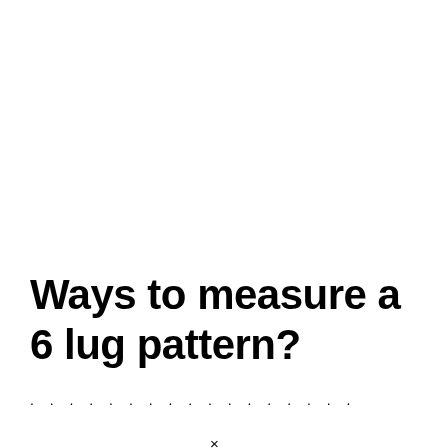Ways to measure a 6 lug pattern?
· · · · · · · · · · · · · · · · · · · · ·